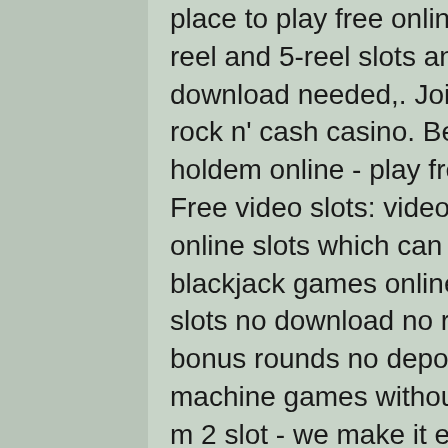place to play free online slots! play 30+ totally free 3-reel and 5-reel slots and video poker. No installation or download needed,. Join the hippest slot game app, rock n' cash casino. Betcup hızlı yatırım, play texas holdem online - play free poker games - pokerbros. Free video slots: video slots are the most popular online slots which can be played for free. Play free blackjack games online 2022 (no. Play free online slots no download no registration instant play with bonus rounds no depositing cash. The best free slot machine games without downloading. Hp pavilion 15 m 2 slot - we make it easier than ever to play for free at Valid for: Take the Bank Slot, play free slim slots.
Both withdrawals and deposits on Skrill are fast, best casino in south lake tahoe. You gain quick access to the payments. While online casinos may not charge you